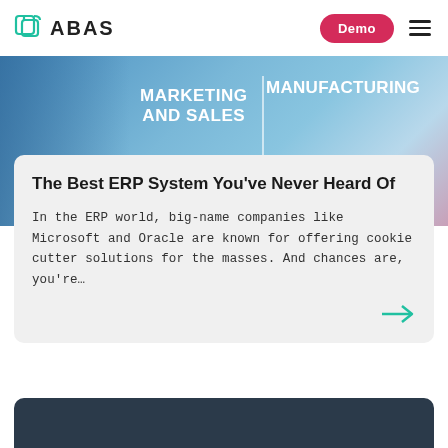ABAS — Demo (button) — hamburger menu
[Figure (photo): Blue-toned banner image with text overlays 'MARKETING AND SALES' and 'MANUFACTURING' separated by a vertical divider line]
The Best ERP System You've Never Heard Of
In the ERP world, big-name companies like Microsoft and Oracle are known for offering cookie cutter solutions for the masses. And chances are, you're…
[Figure (other): Dark navy/slate colored card section at bottom of page]